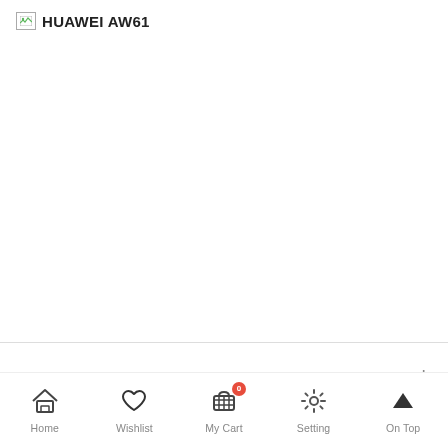HUAWEI AW61
PRODUCT DETAILS
Home  Wishlist  My Cart  Setting  On Top